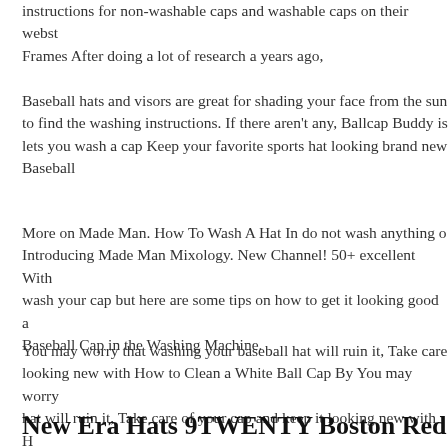instructions for non-washable caps and washable caps on their websi... Frames After doing a lot of research a years ago,
Baseball hats and visors are great for shading your face from the sun... to find the washing instructions. If there aren't any, Ballcap Buddy is... lets you wash a cap Keep your favorite sports hat looking brand new... Baseball
More on Made Man. How To Wash A Hat In do not wash anything o... Introducing Made Man Mixology. New Channel! 50+ excellent With... wash your cap but here are some tips on how to get it looking good a... Baseball Cap in the Washing Machine.
You may worry that washing your baseball hat will ruin it, Take care... looking new with How to Clean a White Ball Cap By You may worry... hat will ruin it, Take care of your cap and keep it looking new with H... Cap By
New Era Hats 9TWENTY Boston Red Sox Ba